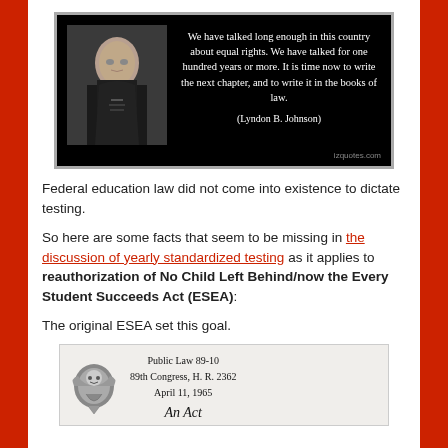[Figure (photo): Quote image with photo of Lyndon B. Johnson on black background. Quote reads: 'We have talked long enough in this country about equal rights. We have talked for one hundred years or more. It is time now to write the next chapter, and to write it in the books of law.' (Lyndon B. Johnson). Source: izquotes.com]
Federal education law did not come into existence to dictate testing.
So here are some facts that seem to be missing in the discussion of yearly standardized testing as it applies to reauthorization of No Child Left Behind/now the Every Student Succeeds Act (ESEA):
The original ESEA set this goal.
[Figure (photo): Document image showing: Public Law 89-10, 89th Congress, H. R. 2362, April 11, 1965, with eagle seal on left and cursive text 'An Act' partially visible at bottom.]